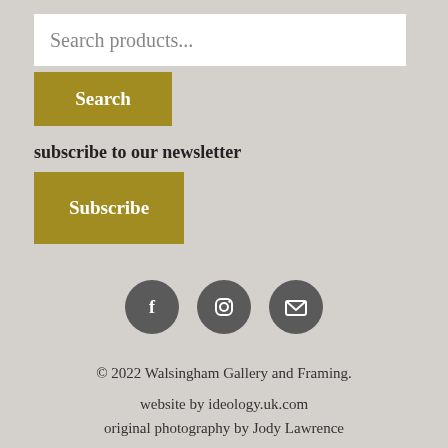Search products...
Search
subscribe to our newsletter
Subscribe
[Figure (illustration): Three social media icon circles: Facebook (f), Instagram (camera/square), and Email (envelope), dark grey circular buttons]
© 2022 Walsingham Gallery and Framing.
website by ideology.uk.com
original photography by Jody Lawrence